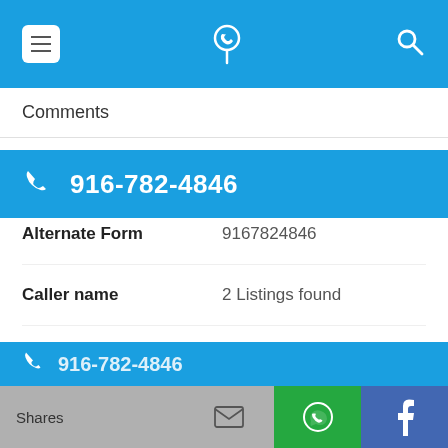[Figure (screenshot): Top navigation bar with menu icon, phone locator icon, and search icon on a blue background]
Comments
[Figure (screenshot): Blue bar displaying phone number 916-782-4846 with a phone icon]
| Alternate Form | 9167824846 |
| Caller name | 2 Listings found |
| Last User Search | No searches yet |
| Comments |  |
[Figure (screenshot): Bottom share bar with Shares label, email icon, WhatsApp icon, and Facebook icon]